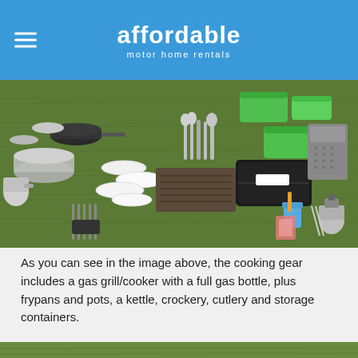affordable motor home rentals
[Figure (photo): Overhead view of camping/cooking gear laid out on grass including pots, pans, frypans, kettle, plates, crockery, cutlery, knives, storage containers (green), a black case, a gas grill, a gas bottle, a small oil column heater, and cleaning gear.]
As you can see in the image above, the cooking gear includes a gas grill/cooker with a full gas bottle, plus frypans and pots, a kettle, crockery, cutlery and storage containers.
There’s also a small oil column heater for the cooler nights and some cleaning gear.
[Figure (photo): Partial view of grass (bottom of page), beginning of another photo section.]